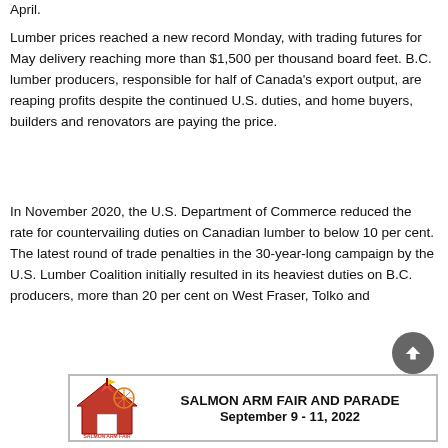April.
Lumber prices reached a new record Monday, with trading futures for May delivery reaching more than $1,500 per thousand board feet. B.C. lumber producers, responsible for half of Canada's export output, are reaping profits despite the continued U.S. duties, and home buyers, builders and renovators are paying the price.
In November 2020, the U.S. Department of Commerce reduced the rate for countervailing duties on Canadian lumber to below 10 per cent. The latest round of trade penalties in the 30-year-long campaign by the U.S. Lumber Coalition initially resulted in its heaviest duties on B.C. producers, more than 20 per cent on West Fraser, Tolko and
[Figure (infographic): Salmon Arm Fair and Parade advertisement banner. Shows fair logo on left and text: SALMON ARM FAIR AND PARADE, September 9 - 11, 2022]